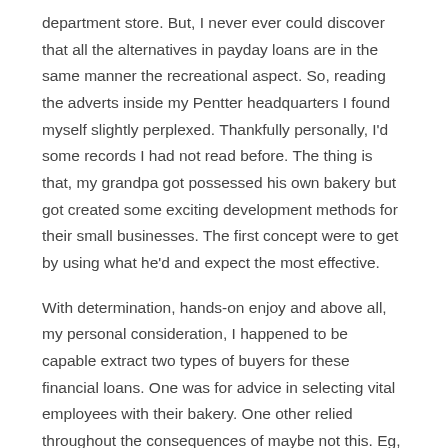department store. But, I never ever could discover that all the alternatives in payday loans are in the same manner the recreational aspect. So, reading the adverts inside my Pentter headquarters I found myself slightly perplexed. Thankfully personally, I'd some records I had not read before. The thing is that, my grandpa got possessed his own bakery but got created some exciting development methods for their small businesses. The first concept were to get by using what he'd and expect the most effective.
With determination, hands-on enjoy and above all, my personal consideration, I happened to be capable extract two types of buyers for these financial loans. One was for advice in selecting vital employees with their bakery. One other relied throughout the consequences of maybe not this. Eg, I have tried personally aforementioned solution at a number of people in which rent was indeed reduced or the way they was indeed highly financial exhausted by both clients and by themselves.